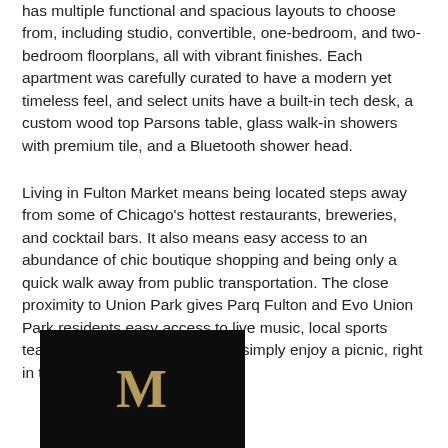has multiple functional and spacious layouts to choose from, including studio, convertible, one-bedroom, and two-bedroom floorplans, all with vibrant finishes. Each apartment was carefully curated to have a modern yet timeless feel, and select units have a built-in tech desk, a custom wood top Parsons table, glass walk-in showers with premium tile, and a Bluetooth shower head.
Living in Fulton Market means being located steps away from some of Chicago's hottest restaurants, breweries, and cocktail bars. It also means easy access to an abundance of chic boutique shopping and being only a quick walk away from public transportation. The close proximity to Union Park gives Parq Fulton and Evo Union Park residents easy access to live music, local sports teams, community events, or to simply enjoy a picnic, right in their own backyard.
[Figure (logo): Black rectangle with a gold/tan serif letter M centered inside, representing a property brand logo.]